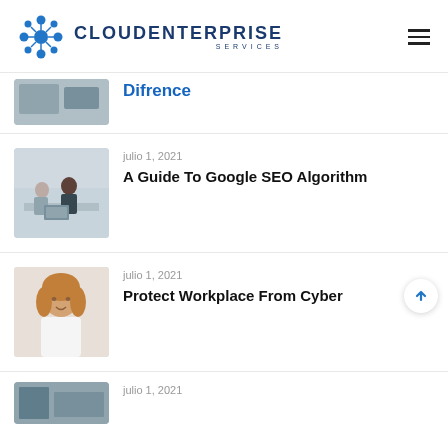[Figure (logo): Cloud Enterprise Services logo with blue circular network icon]
Difrence
julio 1, 2021
A Guide To Google SEO Algorithm
julio 1, 2021
Protect Workplace From Cyber
julio 1, 2021